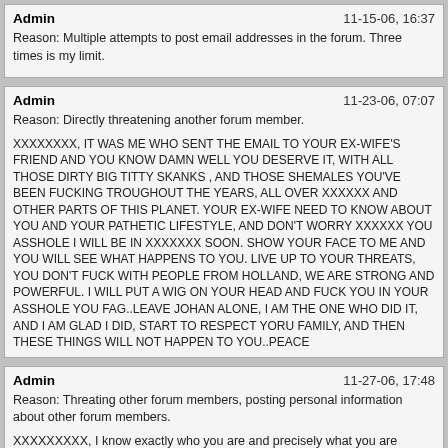Admin | 11-15-06, 16:37
Reason: Multiple attempts to post email addresses in the forum. Three times is my limit.
Admin | 11-23-06, 07:07
Reason: Directly threatening another forum member.

XXXXXXXX, IT WAS ME WHO SENT THE EMAIL TO YOUR EX-WIFE'S FRIEND AND YOU KNOW DAMN WELL YOU DESERVE IT, WITH ALL THOSE DIRTY BIG TITTY SKANKS , AND THOSE SHEMALES YOU'VE BEEN FUCKING TROUGHOUT THE YEARS, ALL OVER XXXXXX AND OTHER PARTS OF THIS PLANET. YOUR EX-WIFE NEED TO KNOW ABOUT YOU AND YOUR PATHETIC LIFESTYLE, AND DON'T WORRY XXXXXX YOU ASSHOLE I WILL BE IN XXXXXXX SOON. SHOW YOUR FACE TO ME AND YOU WILL SEE WHAT HAPPENS TO YOU. LIVE UP TO YOUR THREATS, YOU DON'T FUCK WITH PEOPLE FROM HOLLAND, WE ARE STRONG AND POWERFUL. I WILL PUT A WIG ON YOUR HEAD AND FUCK YOU IN YOUR ASSHOLE YOU FAG..LEAVE JOHAN ALONE, I AM THE ONE WHO DID IT, AND I AM GLAD I DID, START TO RESPECT YORU FAMILY, AND THEN THESE THINGS WILL NOT HAPPEN TO YOU..PEACE
Admin | 11-27-06, 17:48
Reason: Threating other forum members, posting personal information about other forum members.

XXXXXXXXX, I know exactly who you are and precisely what you are planning inside that bald head of yours. I had a friend who is a private investigator look into your background.

Your real name is XXXXXXXXXX, you live at XXXXXXXXXX. in XXXXXXXXXX, XXXXXXXXXX, your phone number is XXXXXXXXXX, your...